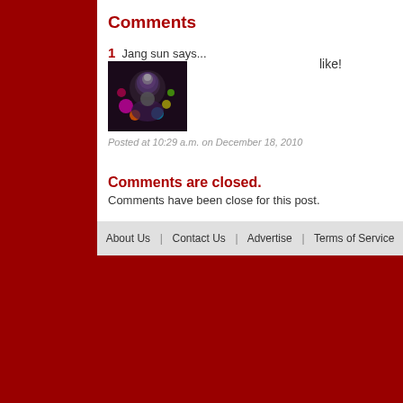Comments
1 Jang sun says...
[Figure (photo): Avatar image of a DJ with colorful lights and reflective helmet]
like!
Posted at 10:29 a.m. on December 18, 2010
Comments are closed.
Comments have been close for this post.
About Us  |  Contact Us  |  Advertise  |  Terms of Service